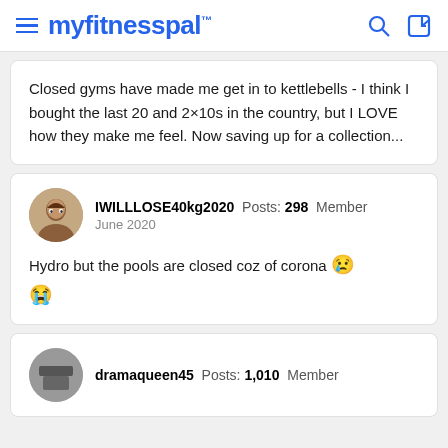myfitnesspal
Closed gyms have made me get in to kettlebells - I think I bought the last 20 and 2×10s in the country, but I LOVE how they make me feel. Now saving up for a collection...
IWILLLOSE40kg2020  Posts: 298  Member
June 2020

Hydro but the pools are closed coz of corona 😢 😭
dramaqueen45  Posts: 1,010  Member